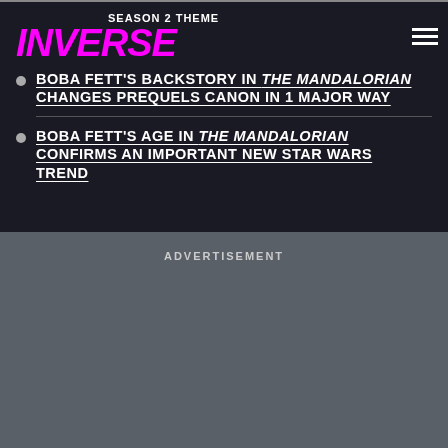INVERSE
SEASON 2 THEME
BOBA FETT'S BACKSTORY IN THE MANDALORIAN CHANGES PREQUELS CANON IN 1 MAJOR WAY
BOBA FETT'S AGE IN THE MANDALORIAN CONFIRMS AN IMPORTANT NEW STAR WARS TREND
ADVERTISEMENT